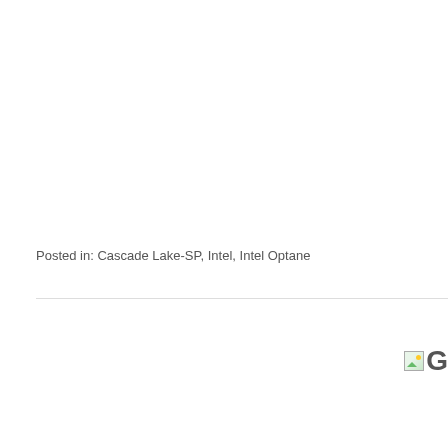Posted in: Cascade Lake-SP, Intel, Intel Optane
[Figure (other): Broken image icon followed by the letter G, partially visible at the right edge of the page]